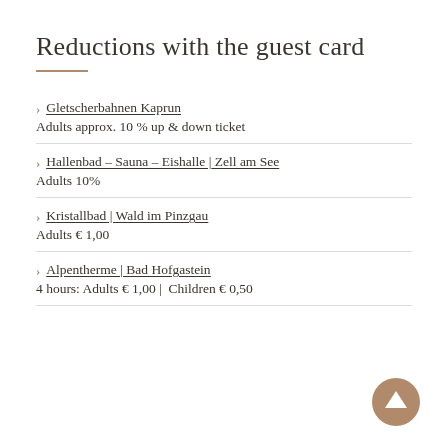Reductions with the guest card
Gletscherbahnen Kaprun
Adults approx. 10 % up & down ticket
Hallenbad – Sauna – Eishalle | Zell am See
Adults 10%
Kristallbad | Wald im Pinzgau
Adults € 1,00
Alpentherme | Bad Hofgastein
4 hours: Adults € 1,00 | Children € 0,50